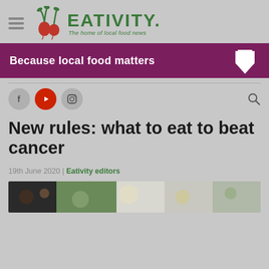EATIVITY. The home of local food news
[Figure (other): Purple banner with white bold text 'Because local food matters' and a white downward arrow on the right]
[Figure (other): Social media icons: Facebook (grey circle), YouTube (red circle), Instagram (grey circle), and a search icon on the right]
New rules: what to eat to beat cancer
19th June 2020 | Eativity editors
[Figure (photo): Partial photo of colorful food dishes including salads and garnishes with lime]